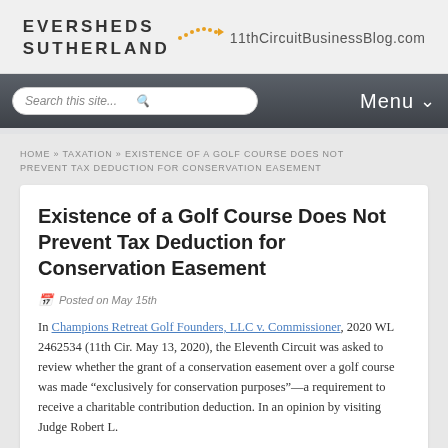[Figure (logo): Eversheds Sutherland logo with arrow pointing to 11thCircuitBusinessBlog.com]
Search this site... | Menu
HOME » TAXATION » EXISTENCE OF A GOLF COURSE DOES NOT PREVENT TAX DEDUCTION FOR CONSERVATION EASEMENT
Existence of a Golf Course Does Not Prevent Tax Deduction for Conservation Easement
Posted on May 15th
In Champions Retreat Golf Founders, LLC v. Commissioner, 2020 WL 2462534 (11th Cir. May 13, 2020), the Eleventh Circuit was asked to review whether the grant of a conservation easement over a golf course was made "exclusively for conservation purposes"—a requirement to receive a charitable contribution deduction. In an opinion by visiting Judge Robert L.